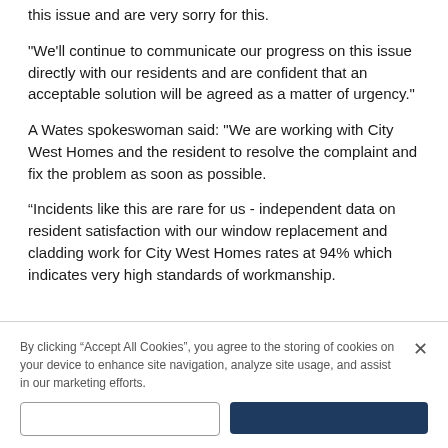this issue and are very sorry for this.
"We'll continue to communicate our progress on this issue directly with our residents and are confident that an acceptable solution will be agreed as a matter of urgency."
A Wates spokeswoman said: "We are working with City West Homes and the resident to resolve the complaint and fix the problem as soon as possible.
“Incidents like this are rare for us - independent data on resident satisfaction with our window replacement and cladding work for City West Homes rates at 94% which indicates very high standards of workmanship.
By clicking “Accept All Cookies”, you agree to the storing of cookies on your device to enhance site navigation, analyze site usage, and assist in our marketing efforts.